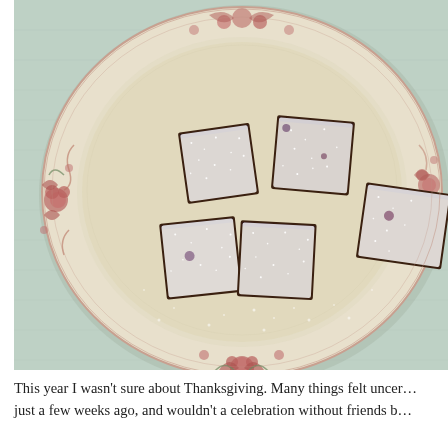[Figure (photo): Overhead photo of a decorative plate with red floral and scrollwork border pattern, containing several square brownie or cake bars dusted with powdered sugar, placed on a light blue-green linen cloth.]
This year I wasn't sure about Thanksgiving. Many things felt uncer… just a few weeks ago, and wouldn't a celebration without friends b…